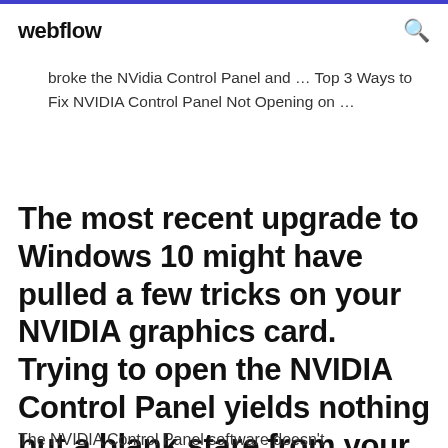webflow
broke the NVidia Control Panel and … Top 3 Ways to Fix NVIDIA Control Panel Not Opening on …
The most recent upgrade to Windows 10 might have pulled a few tricks on your NVIDIA graphics card. Trying to open the NVIDIA Control Panel yields nothing but a blank stare from your PC.
The NVIDIA Control Panel software doesn't